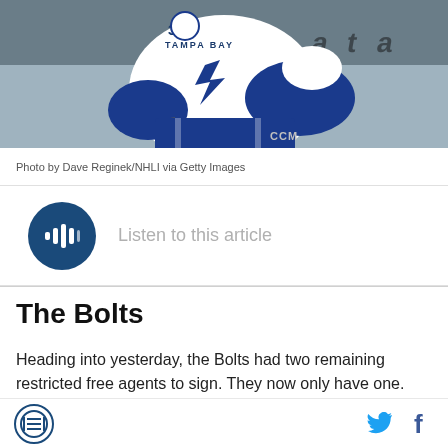[Figure (photo): Tampa Bay Lightning hockey player in white jersey with blue gloves and CCM pants skating on ice]
Photo by Dave Reginek/NHLI via Getty Images
Listen to this article
The Bolts
Heading into yesterday, the Bolts had two remaining restricted free agents to sign. They now only have one.